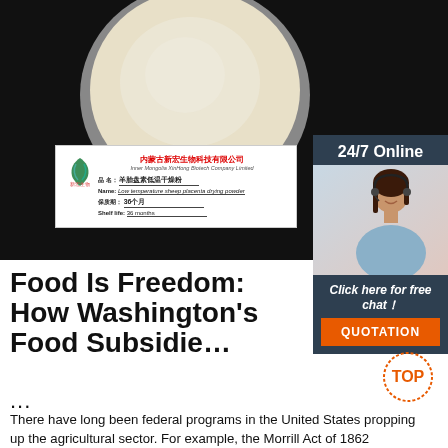[Figure (photo): Product photo: a circular dish with white/cream powder on a black background, with a product label card showing Chinese company name and product details. Partially overlapping sidebar with customer service agent photo.]
Food Is Freedom: How Washington's Food Subsidie...
...
There have long been federal programs in the United States propping up the agricultural sector. For example, the Morrill Act of 1862 established land-grant universities with a focus on agricultural education. The Smith-Lever Act of 1914 similarly provided funding for agricultural education.. The first program